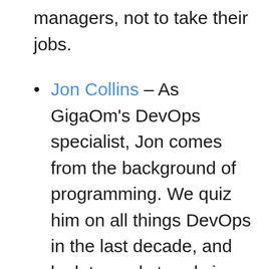managers, not to take their jobs.
Jon Collins – As GigaOm's DevOps specialist, Jon comes from the background of programming. We quiz him on all things DevOps in the last decade, and look towards trends in the next 10 years too. Topics include the spread of GitOps, and how startups have their role to play in providing solutions for the future. Plus, find out about